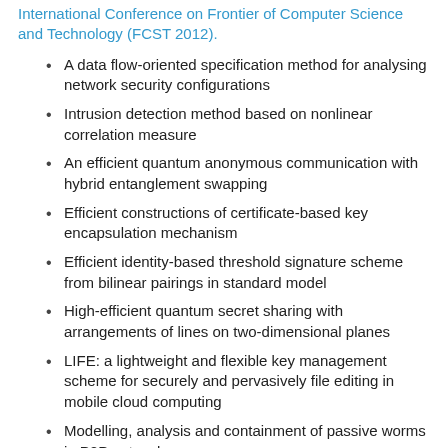International Conference on Frontier of Computer Science and Technology (FCST 2012).
A data flow-oriented specification method for analysing network security configurations
Intrusion detection method based on nonlinear correlation measure
An efficient quantum anonymous communication with hybrid entanglement swapping
Efficient constructions of certificate-based key encapsulation mechanism
Efficient identity-based threshold signature scheme from bilinear pairings in standard model
High-efficient quantum secret sharing with arrangements of lines on two-dimensional planes
LIFE: a lightweight and flexible key management scheme for securely and pervasively file editing in mobile cloud computing
Modelling, analysis and containment of passive worms in P2P networks